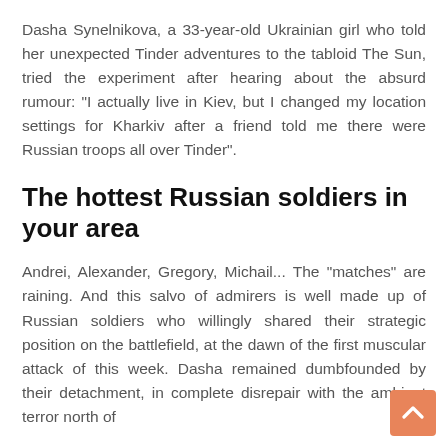Dasha Synelnikova, a 33-year-old Ukrainian girl who told her unexpected Tinder adventures to the tabloid The Sun, tried the experiment after hearing about the absurd rumour: "I actually live in Kiev, but I changed my location settings for Kharkiv after a friend told me there were Russian troops all over Tinder".
The hottest Russian soldiers in your area
Andrei, Alexander, Gregory, Michail... The "matches" are raining. And this salvo of admirers is well made up of Russian soldiers who willingly shared their strategic position on the battlefield, at the dawn of the first muscular attack of this week. Dasha remained dumbfounded by their detachment, in complete disrepair with the ambient terror north of